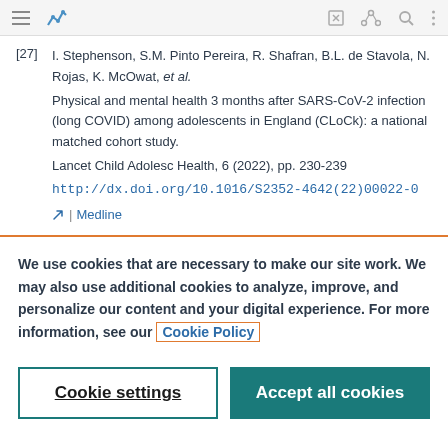toolbar with navigation icons
[27] I. Stephenson, S.M. Pinto Pereira, R. Shafran, B.L. de Stavola, N. Rojas, K. McOwat, et al.
Physical and mental health 3 months after SARS-CoV-2 infection (long COVID) among adolescents in England (CLoCk): a national matched cohort study.
Lancet Child Adolesc Health, 6 (2022), pp. 230-239
http://dx.doi.org/10.1016/S2352-4642(22)00022-0 | Medline
We use cookies that are necessary to make our site work. We may also use additional cookies to analyze, improve, and personalize our content and your digital experience. For more information, see our Cookie Policy
Cookie settings
Accept all cookies